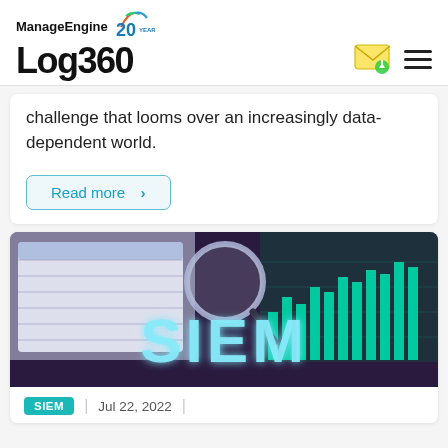ManageEngine Log360
challenge that looms over an increasingly data-dependent world.
Read more >
[Figure (illustration): SIEM themed banner image with magnifying glass, bar charts, and large glowing text 'SIEM' on a dark purple/teal background with data visualizations]
SIEM | Jul 22, 2022 |